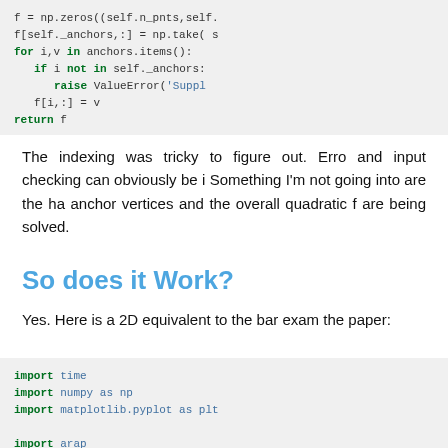[Figure (screenshot): Code block showing Python code with f = np.zeros, f[self._anchors,:], for loop, if/raise ValueError, f[i,:] = v, return f]
The indexing was tricky to figure out. Error and input checking can obviously be i Something I'm not going into are the ha anchor vertices and the overall quadratic f are being solved.
So does it Work?
Yes. Here is a 2D equivalent to the bar exam the paper:
[Figure (screenshot): Code block showing: import time, import numpy as np, import matplotlib.pyplot as plt, import arap]